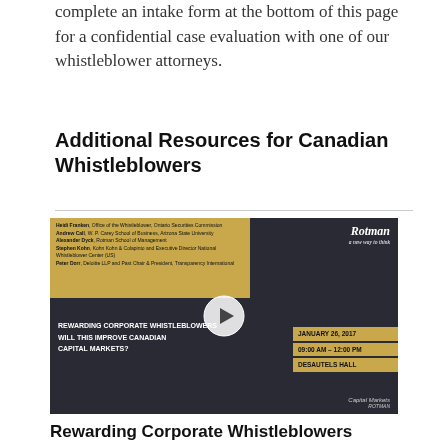complete an intake form at the bottom of this page for a confidential case evaluation with one of our whistleblower attorneys.
Additional Resources for Canadian Whistleblowers
[Figure (screenshot): Video thumbnail for a Rotman Capital Markets event titled 'Rewarding Corporate Whistleblowers - Will This Improve Canadian Capital Markets?' dated January 26, 2017, 09:00 AM - 12:00 PM, Desautels Hall. Features a speaker panel list and a play button overlay.]
Rewarding Corporate Whistleblowers